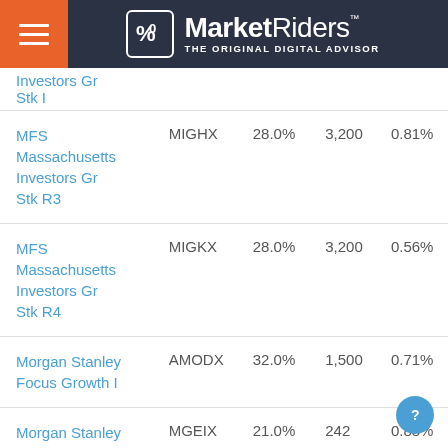MarketRiders — THE ORIGINAL DIGITAL ADVISOR
| Fund Name | Ticker | Allocation | Min | Expense |
| --- | --- | --- | --- | --- |
| MFS Massachusetts Investors Gr Stk I |  |  |  |  |
| MFS Massachusetts Investors Gr Stk R3 | MIGHX | 28.0% | 3,200 | 0.81% |
| MFS Massachusetts Investors Gr Stk R4 | MIGKX | 28.0% | 3,200 | 0.56% |
| Morgan Stanley Focus Growth I | AMODX | 32.0% | 1,500 | 0.71% |
| Morgan Stanley Inst Opportunity I | MGEIX | 21.0% | 242 | 0.88% |